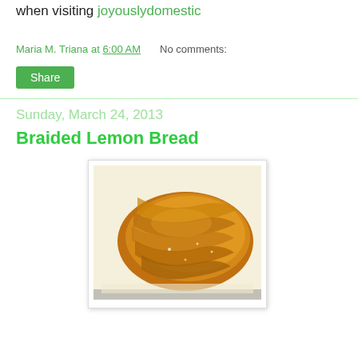when visiting joyouslydomestic
Maria M. Triana at 6:00 AM   No comments:
Share
Sunday, March 24, 2013
Braided Lemon Bread
[Figure (photo): A braided lemon bread loaf on a baking sheet lined with parchment paper, golden-brown with a decorative braid pattern, viewed from above at an angle.]